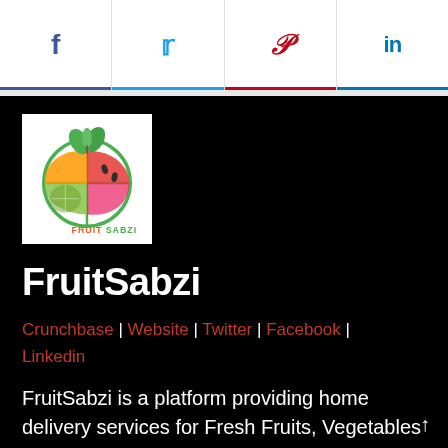[Figure (logo): Social share bar with Facebook, Twitter, Pinterest, LinkedIn icons]
[Figure (logo): FruitSabzi logo: circular fruit quadrant design with green leaves on top, text FRUITSABZI below]
FruitSabzi
Crunchbase | Website | Twitter | Facebook | Linkedin
FruitSabzi is a platform providing home delivery services for Fresh Fruits, Vegetables